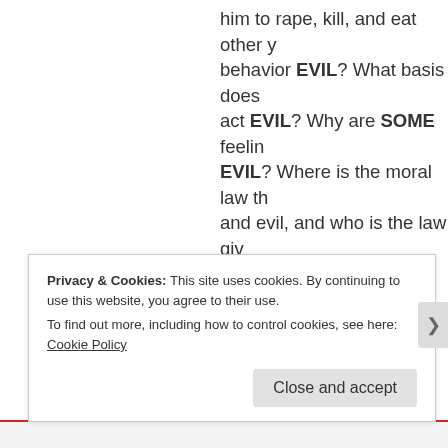him to rape, kill, and eat other y behavior EVIL? What basis does act EVIL? Why are SOME feelin EVIL? Where is the moral law th and evil, and who is the law giv
If we are merely animals, then s we are evolving. Friedrich Niet OUT of morality and become a alone, unrestrained by conscien have evolved FROM such creat then why could we not evolve b would giving and saving for ou it
Privacy & Cookies: This site uses cookies. By continuing to use this website, you agree to their use.
To find out more, including how to control cookies, see here: Cookie Policy
Close and accept